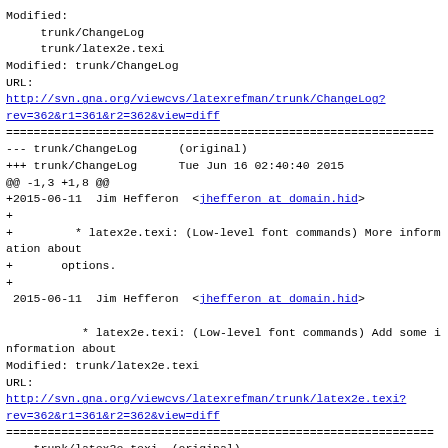Modified:
    trunk/ChangeLog
    trunk/latex2e.texi
Modified: trunk/ChangeLog
URL:
http://svn.gna.org/viewcvs/latexrefman/trunk/ChangeLog?rev=362&r1=361&r2=362&view=diff
==============================================================
--- trunk/ChangeLog      (original)
+++ trunk/ChangeLog      Tue Jun 16 02:40:40 2015
@@ -1,3 +1,8 @@
+2015-06-11  Jim Hefferon  <jhefferon at domain.hid>
+
+         * latex2e.texi: (Low-level font commands) More information about
+       options.
+
 2015-06-11  Jim Hefferon  <jhefferon at domain.hid>

           * latex2e.texi: (Low-level font commands) Add some information about
Modified: trunk/latex2e.texi
URL:
http://svn.gna.org/viewcvs/latexrefman/trunk/latex2e.texi?rev=362&r1=361&r2=362&view=diff
==============================================================
--- trunk/latex2e.texi  (original)
+++ trunk/latex2e.texi  Tue Jun 16 02:40:40 2015